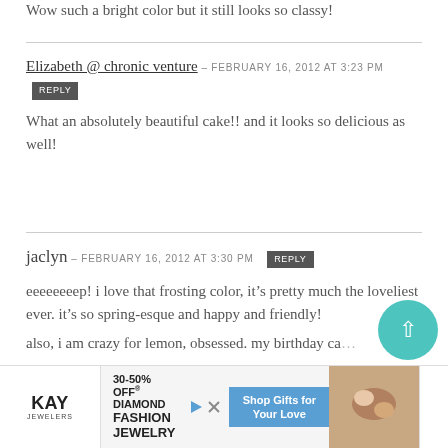Wow such a bright color but it still looks so classy!
Elizabeth @ chronic venture – FEBRUARY 16, 2012 at 3:23 PM [REPLY]
What an absolutely beautiful cake!! and it looks so delicious as well!
jaclyn – FEBRUARY 16, 2012 at 3:30 PM [REPLY]
eeeeeeeep! i love that frosting color, it's pretty much the loveliest ever. it's so spring-esque and happy and friendly!
also, i am crazy for lemon, obsessed. my birthday ca...
[Figure (screenshot): Kay Jewelers advertisement banner: 30-50% OFF DIAMOND FASHION JEWELRY, Shop Gifts for Your Love, with jewelry image and close button]